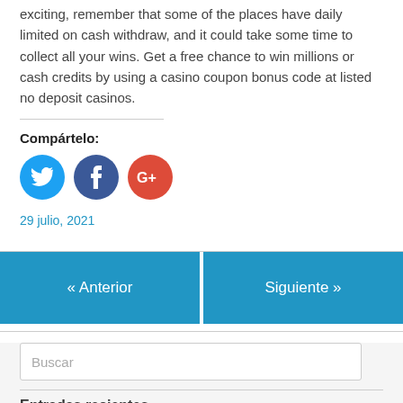exciting, remember that some of the places have daily limited on cash withdraw, and it could take some time to collect all your wins. Get a free chance to win millions or cash credits by using a casino coupon bonus code at listed no deposit casinos.
Compártelo:
[Figure (illustration): Three social media icon buttons: Twitter (blue circle with bird icon), Facebook (dark blue circle with f icon), Google+ (red circle with G+ icon)]
29 julio, 2021
« Anterior
Siguiente »
Buscar
Entradas recientes